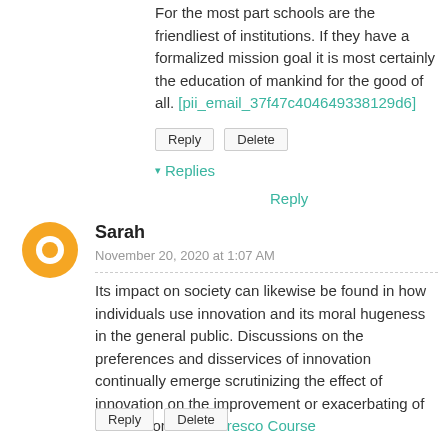For the most part schools are the friendliest of institutions. If they have a formalized mission goal it is most certainly the education of mankind for the good of all. [pii_email_37f47c404649338129d6]
Reply  Delete
▾ Replies
Reply
Sarah
November 20, 2020 at 1:07 AM
Its impact on society can likewise be found in how individuals use innovation and its moral hugeness in the general public. Discussions on the preferences and disservices of innovation continually emerge scrutinizing the effect of innovation on the improvement or exacerbating of human condition.Alfresco Course
Reply  Delete
▾ Replies
Reply
Add comment
Enter Comment